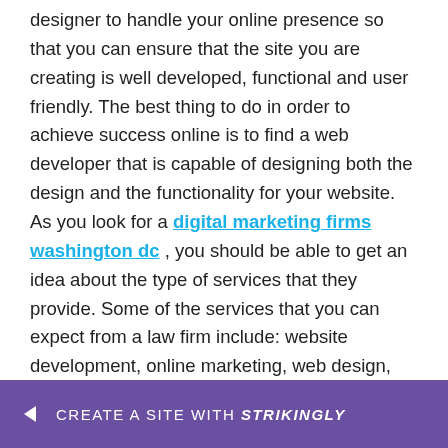designer to handle your online presence so that you can ensure that the site you are creating is well developed, functional and user friendly. The best thing to do in order to achieve success online is to find a web developer that is capable of designing both the design and the functionality for your website. As you look for a digital marketing firms washington dc , you should be able to get an idea about the type of services that they provide. Some of the services that you can expect from a law firm include: website development, online marketing, web design, etc. You should not forget to as[...]e, beca[...]
[Figure (other): Purple banner at the bottom of the page with a left-pointing arrow icon, text 'CREATE A SITE WITH' and 'strikingly' in bold italic.]